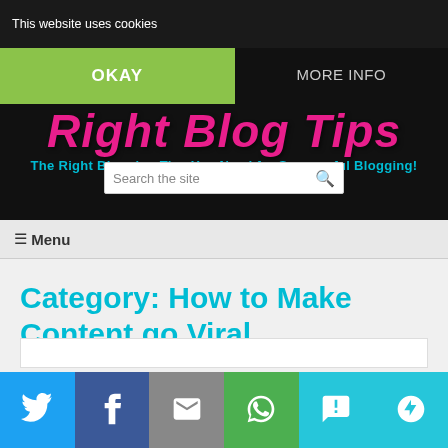This website uses cookies
OKAY
MORE INFO
Right Blog Tips
The Right Blogging Tips You Need for Successful Blogging!
Search the site
☰ Menu
Category: How to Make Content go Viral
[Figure (screenshot): Social sharing bar with Twitter, Facebook, Email, WhatsApp, SMS, and More buttons]